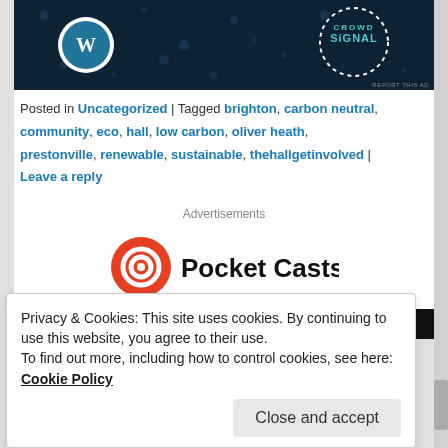[Figure (photo): Advertisement banner with dark navy background showing WordPress logo (white circle with W) on left and Crowd Signal logo (dotted circle with teal text) on right. 'REPORT THIS AD' text in bottom right corner.]
Posted in Uncategorized | Tagged brighton, carbon neutral, community, eco, hall, low carbon, oliver heath, prestonville, renewable, sustainable, thehallgetinvolved | Leave a reply
Advertisements
[Figure (logo): Pocket Casts logo: red circular icon with white headphone/signal symbol on left, bold black 'Pocket Casts' text on right]
Privacy & Cookies: This site uses cookies. By continuing to use this website, you agree to their use.
To find out more, including how to control cookies, see here: Cookie Policy
Close and accept